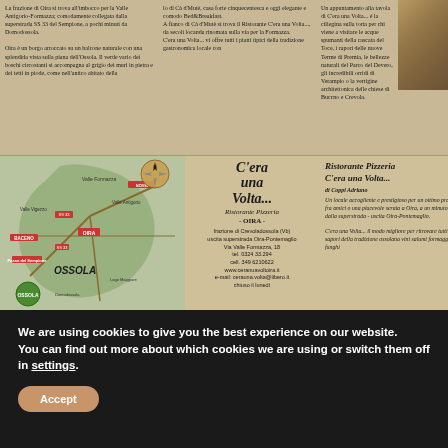La frazione di Oira si trova all'imbocco per la Valle Antigorio-Formazza; comodamente collegata dalla superstrada SS 33 del Sempione, a pochi minuti da Domodossola. Oira è un borgo arroccato su un balcone naturale con una splendida vista sulla piana dell'Ossola. Il verde vario dei boschi circostanti si accompagna al grigio dei muri in pietra e dei tetti in piode, come nell'antico abitato della
lo di Cà d'Mutè, casa forte cinquecentesca e oggi elegante e comodo Bed&Breakfast. A fianco di Cà d'Mutè si trova il Ristorante C'era una Volta..., da secoli locanda rinomata sulla via per la Formazza. C'era una Volta... vi offre tutti i piatti tipici della tradizione gastronomica locale con
Un appuntamento alla tavola di C'era una Volta... è la ciliegina sulla torta per chi viene a visitare le acque spumanti della cascata del Toce, i rapori delle nuove Terme di Premia, le bellezze naturali del Parco del Devero, gli incredibili orridi di Verampio o la vertigine architettonica delle chiese di Buccno e Crevola.
[Figure (map): Map of Ossola region showing roads, towns including OIRA and surrounding areas with compass rose]
[Figure (logo): C'era una Volta restaurant logo with stylized text and moon/banana design]
Ristorante Pizzeria - OIRA - frazione di Crevoladossola (Vb) uscita superstrada Oira-Pontemaglio Via Valle Formazza, 18 tel. 0324 33.294 cell. 349 6210622 www.ceranusvoltoira.it e-mail: cerauna.volta@libero.it chiuso il lunedì
Ristorante Pizzeria C'era una Volta... di Coppi Adriano Un locale accogliente e prestigioso per un ottimo pranzo fra amici o una piacevole serata a Oira, a un minuto dalla superstrada - uscita Oira-Pontemaglio. C'era una Volta... il modo migliore per ritrovare tutti i sapori della tradizione ossolana vini salumi formaggi funghi
We are using cookies to give you the best experience on our website.
You can find out more about which cookies we are using or switch them off in settings.
Accept